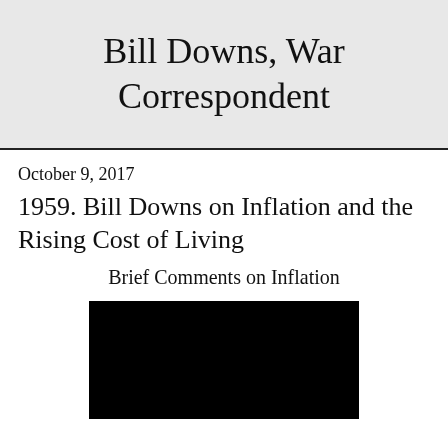Bill Downs, War Correspondent
October 9, 2017
1959. Bill Downs on Inflation and the Rising Cost of Living
Brief Comments on Inflation
[Figure (photo): A black rectangular image, likely a photograph that is not visible (blacked out).]